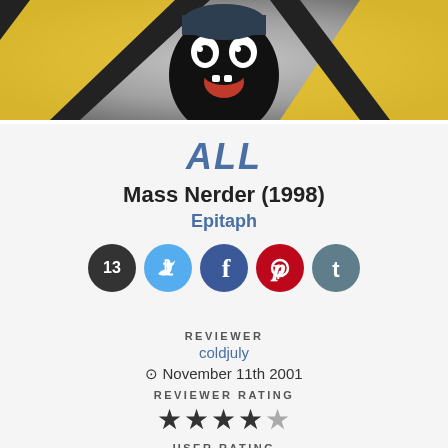[Figure (photo): Album cover art showing animated character with black face, red mouth open, white eyes, wearing yellow and black costume against grey background]
ALL
Mass Nerder (1998)
Epitaph
[Figure (infographic): Social sharing icons: count 13, Twitter, Facebook, Pinterest, Tumblr]
REVIEWER
coldjuly
November 11th 2001
REVIEWER RATING
[Figure (other): 4.5 out of 5 stars reviewer rating]
USER RATING
[Figure (other): 4.5 out of 5 stars user rating (partially visible)]